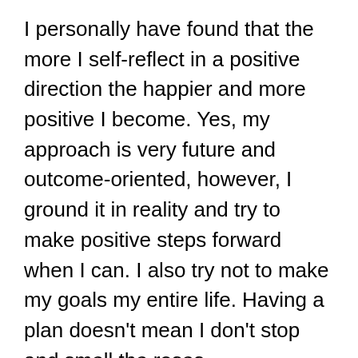I personally have found that the more I self-reflect in a positive direction the happier and more positive I become. Yes, my approach is very future and outcome-oriented, however, I ground it in reality and try to make positive steps forward when I can. I also try not to make my goals my entire life. Having a plan doesn't mean I don't stop and smell the roses
.So if you've stuck around to the end then congrats! This is a bit longer than my previous posts, but I felt the urge to be